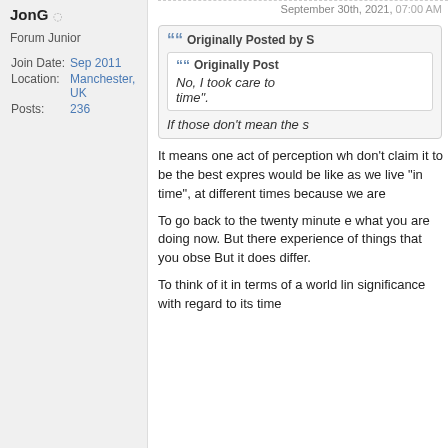JonG
Forum Junior
Join Date: Sep 2011
Location: Manchester, UK
Posts: 236
Originally Posted by S
Originally Post...
No, I took care to... time".
If those don't mean the s...
It means one act of perception wh... don't claim it to be the best expres... would be like as we live "in time",... at different times because we are...
To go back to the twenty minute e... what you are doing now. But there... experience of things that you obse... But it does differ.
To think of it in terms of a world lin... significance with regard to its time...